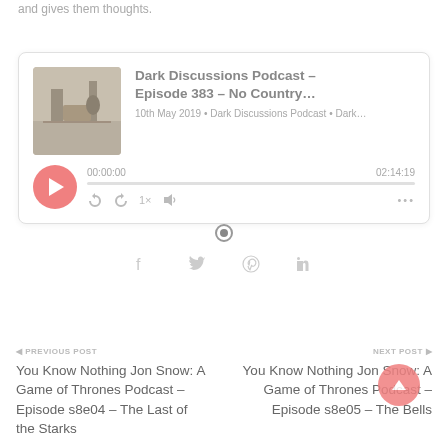and gives them thoughts.
[Figure (screenshot): Podcast player card for 'Dark Discussions Podcast – Episode 383 – No Country...' dated 10th May 2019, showing play button, time 00:00:00 / 02:14:19, progress bar, and playback controls.]
◀ PREVIOUS POST
You Know Nothing Jon Snow: A Game of Thrones Podcast – Episode s8e04 – The Last of the Starks
NEXT POST ▶
You Know Nothing Jon Snow: A Game of Thrones Podcast – Episode s8e05 – The Bells